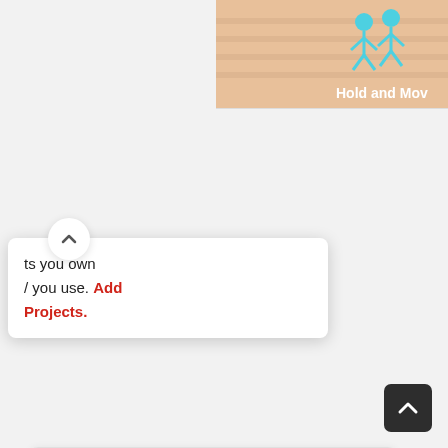[Figure (screenshot): Top-right advertisement banner showing a game 'Hold and Move' with 3D cartoon stick figures on a wooden surface background]
ts you own / you use. Add Projects.
[Figure (logo): Powered By linode logo with green cubic blocks arranged in an L-shape and bold text 'Powered By linode']
[Figure (screenshot): AliExpress Summer Sale advertisement banner with pink/salmon background showing 'Summer Sale AliExpress Official picks']
[Figure (other): Dark scroll-to-top button with upward chevron arrow in bottom right corner]